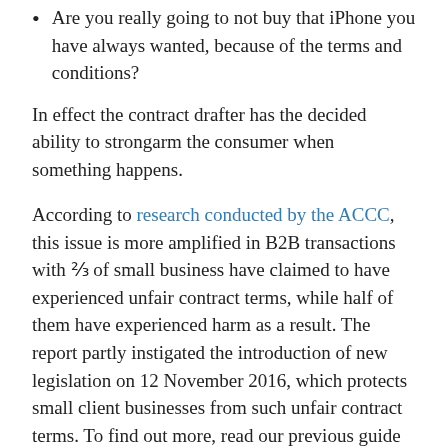Are you really going to not buy that iPhone you have always wanted, because of the terms and conditions?
In effect the contract drafter has the decided ability to strongarm the consumer when something happens.
According to research conducted by the ACCC, this issue is more amplified in B2B transactions with ⅔ of small business have claimed to have experienced unfair contract terms, while half of them have experienced harm as a result. The report partly instigated the introduction of new legislation on 12 November 2016, which protects small client businesses from such unfair contract terms. To find out more, read our previous guide on unfair contract term legislation